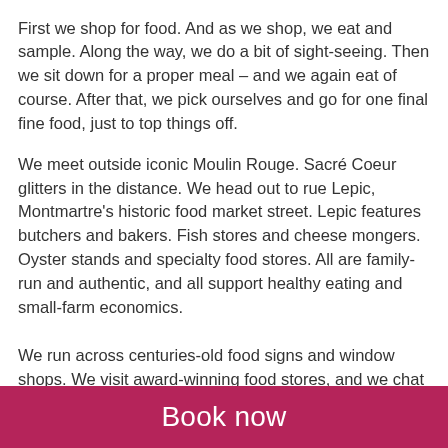First we shop for food. And as we shop, we eat and sample. Along the way, we do a bit of sight-seeing. Then we sit down for a proper meal – and we again eat of course. After that, we pick ourselves and go for one final fine food, just to top things off.
We meet outside iconic Moulin Rouge. Sacré Coeur glitters in the distance. We head out to rue Lepic, Montmartre's historic food market street. Lepic features butchers and bakers. Fish stores and cheese mongers. Oyster stands and specialty food stores. All are family-run and authentic, and all support healthy eating and small-farm economics.

We run across centuries-old food signs and window shops. We visit award-winning food stores, and we chat with engaging purveyors. On the way, we get to explore Montmartre, from Moulin Rouge to Sacré Coeur. Montmartre was once the home of Van Gogh, Picasso
Book now